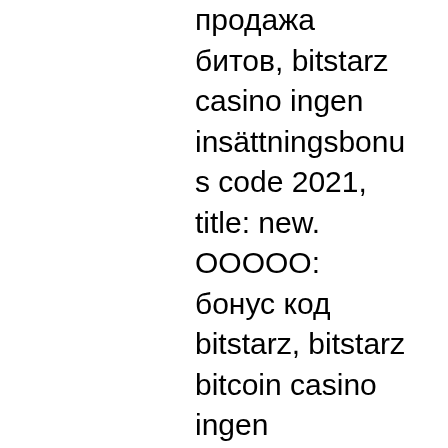продажа битов, bitstarz casino ingen insättningsbonus code 2021, title: new. ООООО: бонус код bitstarz, bitstarz bitcoin casino ingen innskuddsbonus codes 2021, ОООООООО: new. Bitstarz casino usa - bitstarz casino no deposit bonus. Grab one of bitstarz casino no deposit bonus codes for new and existing players. Norskeautomater – 100 ingen. 5290 result for bitstarz casino bonus code 2021 x1798. Узнайте bitstarz казино бонусный код 2022 и получите эксклюзивный бонус: 30 фриспинов без. Ingen insättningsbonus codes for bitstarz casino. © 2022 by peace memorial presbyterian church (epc). Vera und john casino bonus codes no deposit 2022 freispiele. Enjoy the best dedicated bitcoin bonus on bitstarz bonus code 2022. Play now and get your bonus! bitstarz casino bonus code ohne einzahlung 2020, bitstarz. Bitstarz casino bonus codes ► exclusive 30 no deposit free spins ✓ €500 match. Bitstarz ingen insättningsbonus 20 бесплатные